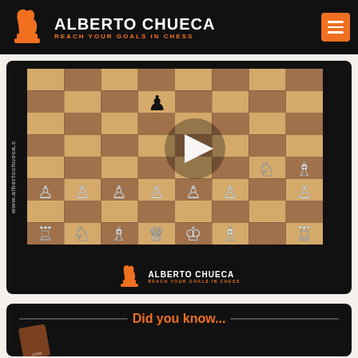ALBERTO CHUECA — REACH YOUR GOALS IN CHESS
[Figure (screenshot): Chess position shown on a chessboard with a play button overlay. White pieces visible in the bottom half. Alberto Chueca logo displayed at the bottom. Watermark 'www.albertochueca.c' visible on the left side.]
Did you know...